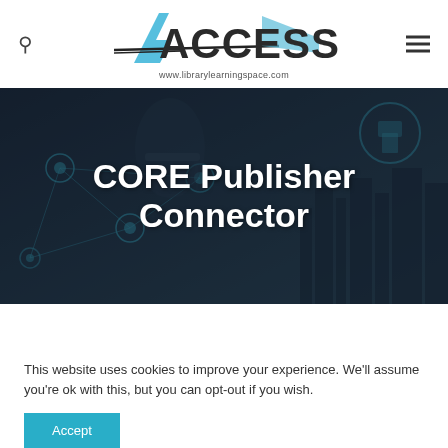ACCESS www.librarylearningspace.com
[Figure (photo): Dark hero banner image showing a person using a digital tablet with network connectivity graphics overlay, city skyline in background]
CORE Publisher Connector
This website uses cookies to improve your experience. We'll assume you're ok with this, but you can opt-out if you wish.